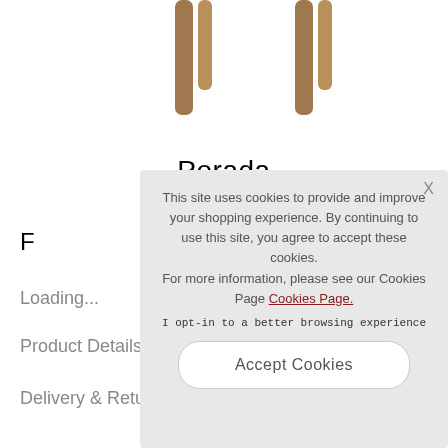[Figure (illustration): Partial view of a wooden furniture piece (table or stool) showing wooden legs against a white background, cropped at the top]
Porada
F
Loading...
Product Details
Delivery & Retur
This site uses cookies to provide and improve your shopping experience. By continuing to use this site, you agree to accept these cookies.
For more information, please see our Cookies Page Cookies Page.
I opt-in to a better browsing experience
Accept Cookies